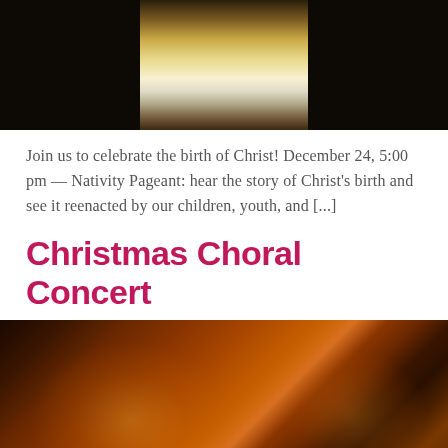[Figure (photo): Aerial/entrance view of a church with large open doors revealing a warmly lit interior corridor]
Join us to celebrate the birth of Christ! December 24, 5:00 pm — Nativity Pageant: hear the story of Christ's birth and see it reenacted by our children, youth, and [...]
Christmas Choral Concert
[Figure (photo): Overhead view of a candlelit church interior filled with people holding candles, warm amber glow throughout the sanctuary]